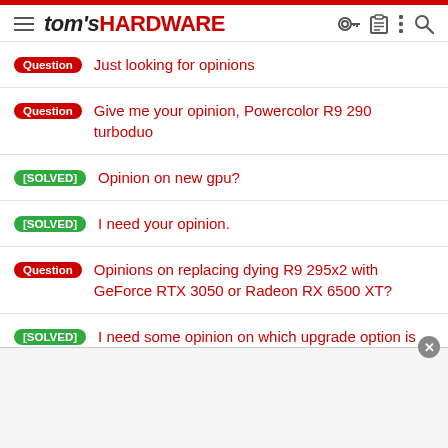tom's HARDWARE
Question  Just looking for opinions
Question  Give me your opinion, Powercolor R9 290 turboduo
[SOLVED]  Opinion on new gpu?
[SOLVED]  I need your opinion.
Question  Opinions on replacing dying R9 295x2 with GeForce RTX 3050 or Radeon RX 6500 XT?
[SOLVED]  I need some opinion on which upgrade option is better